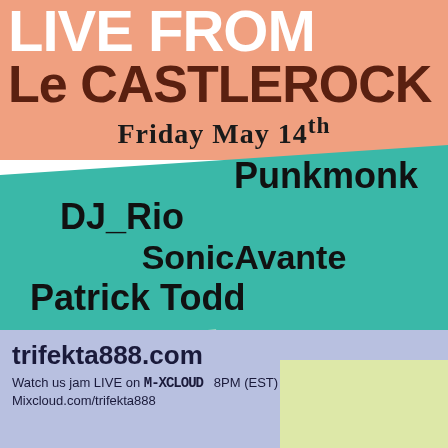LIVE FROM Le CASTLEROCK
Friday May 14th
Punkmonk
DJ_Rio
SonicAvante
Patrick Todd
trifekta888.com
Watch us jam LIVE on M-XCLOUD  8PM (EST)
Mixcloud.com/trifekta888